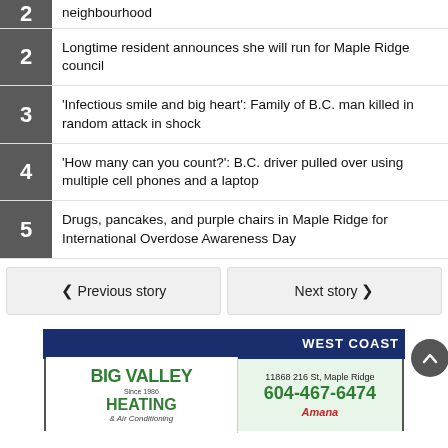neighbourhood
Longtime resident announces she will run for Maple Ridge council
'Infectious smile and big heart': Family of B.C. man killed in random attack in shock
'How many can you count?': B.C. driver pulled over using multiple cell phones and a laptop
Drugs, pancakes, and purple chairs in Maple Ridge for International Overdose Awareness Day
Previous story | Next story
[Figure (advertisement): Big Valley Heating and Air Conditioning advertisement. Address: 11868 216 St, Maple Ridge. Phone: 604-467-6474. Amana brand logo.]